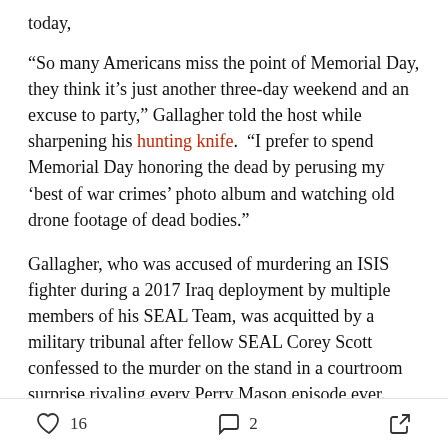today,
“So many Americans miss the point of Memorial Day, they think it's just another three-day weekend and an excuse to party,” Gallagher told the host while sharpening his hunting knife.  “I prefer to spend Memorial Day honoring the dead by perusing my ‘best of war crimes’ photo album and watching old drone footage of dead bodies.”
Gallagher, who was accused of murdering an ISIS fighter during a 2017 Iraq deployment by multiple members of his SEAL Team, was acquitted by a military tribunal after fellow SEAL Corey Scott confessed to the murder on the stand in a courtroom surprise rivaling every Perry Mason episode ever.
16 likes  2 comments  share